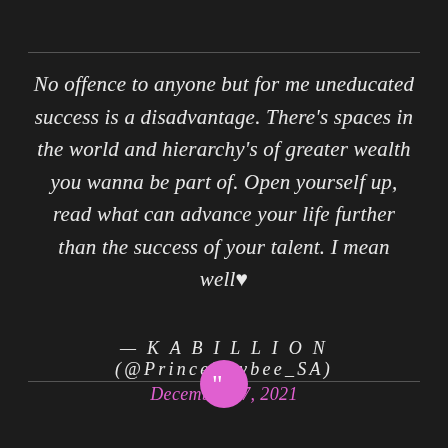No offence to anyone but for me uneducated success is a disadvantage. There's spaces in the world and hierarchy's of greater wealth you wanna be part of. Open yourself up, read what can advance your life further than the success of your talent. I mean well ♥
— K A B I L L I O N (@PrinceKaybee_SA) December 17, 2021